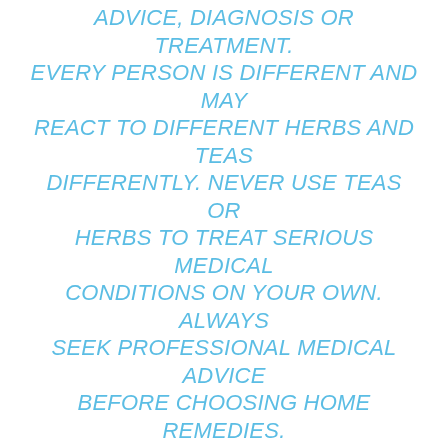ADVICE, DIAGNOSIS OR TREATMENT. EVERY PERSON IS DIFFERENT AND MAY REACT TO DIFFERENT HERBS AND TEAS DIFFERENTLY. NEVER USE TEAS OR HERBS TO TREAT SERIOUS MEDICAL CONDITIONS ON YOUR OWN. ALWAYS SEEK PROFESSIONAL MEDICAL ADVICE BEFORE CHOOSING HOME REMEDIES.
Don't Miss: Tokyo Iced Tea Tipsy Bartender
Is English Breakfast The Same As Orange Pekoe
Another famous black tea in the market is English breakfast tea. Known for its strong and robust